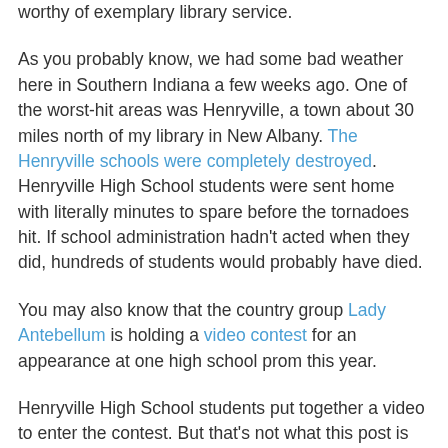worthy of exemplary library service.
As you probably know, we had some bad weather here in Southern Indiana a few weeks ago. One of the worst-hit areas was Henryville, a town about 30 miles north of my library in New Albany. The Henryville schools were completely destroyed. Henryville High School students were sent home with literally minutes to spare before the tornadoes hit. If school administration hadn't acted when they did, hundreds of students would probably have died.
You may also know that the country group Lady Antebellum is holding a video contest for an appearance at one high school prom this year.
Henryville High School students put together a video to enter the contest. But that's not what this post is about.
Students at D.C. Everst High School in Wisconsin, hundreds of miles away, completely unrelated to Henryville made an entry for the contest... an entry asking Lady Antebellum to come to Henryville's prom: